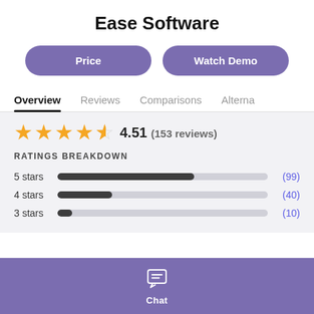Ease Software
Price
Watch Demo
Overview
Reviews
Comparisons
Alterna
4.51 (153 reviews)
RATINGS BREAKDOWN
[Figure (bar-chart): Ratings Breakdown]
Chat